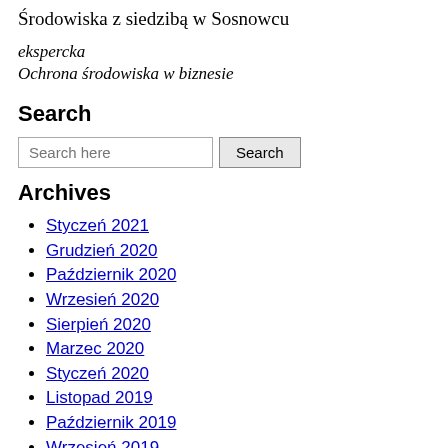Środowiska z siedzibą w Sosnowcu
ekspercka
Ochrona środowiska w biznesie
Search
Search here [input] Search [button]
Archives
Styczeń 2021
Grudzień 2020
Październik 2020
Wrzesień 2020
Sierpień 2020
Marzec 2020
Styczeń 2020
Listopad 2019
Październik 2019
Wrzesień 2019
Sierpień 2019
Lipiec 2019
Czerwiec 2019
Listopad 2018